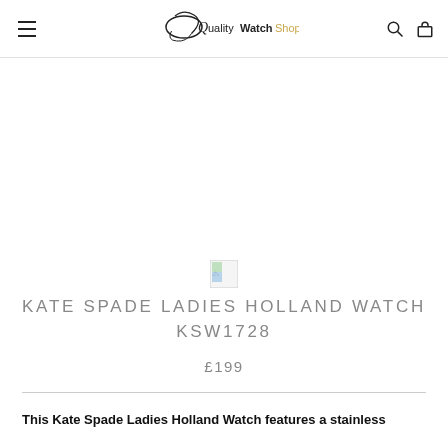QualityWatchShop
[Figure (photo): Broken/missing product image placeholder for Kate Spade Ladies Holland Watch KSW1728]
KATE SPADE LADIES HOLLAND WATCH KSW1728
£199
This Kate Spade Ladies Holland Watch features a stainless